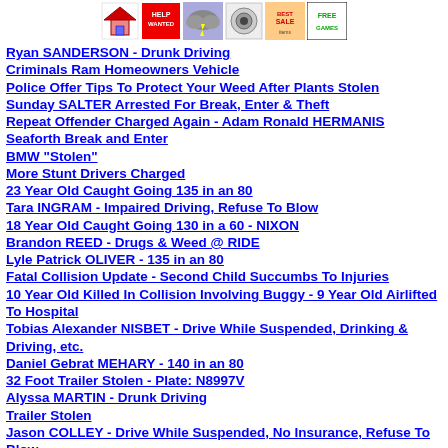[Figure (other): Row of small icon images: house icon, Help Wanted sign, storm cloud with lightning, robot/camera icon, sale items, Free Games sign]
Ryan SANDERSON - Drunk Driving
Criminals Ram Homeowners Vehicle
Police Offer Tips To Protect Your Weed After Plants Stolen
Sunday SALTER Arrested For Break, Enter & Theft
Repeat Offender Charged Again - Adam Ronald HERMANIS
Seaforth Break and Enter
BMW "Stolen"
More Stunt Drivers Charged
23 Year Old Caught Going 135 in an 80
Tara INGRAM - Impaired Driving, Refuse To Blow
18 Year Old Caught Going 130 in a 60 - NIXON
Brandon REED - Drugs & Weed @ RIDE
Lyle Patrick OLIVER - 135 in an 80
Fatal Collision Update - Second Child Succumbs To Injuries
10 Year Old Killed In Collision Involving Buggy - 9 Year Old Airlifted To Hospital
Tobias Alexander NISBET - Drive While Suspended, Drinking & Driving, etc.
Daniel Gebrat MEHARY - 140 in an 80
32 Foot Trailer Stolen - Plate: N8997V
Alyssa MARTIN - Drunk Driving
Trailer Stolen
Jason COLLEY - Drive While Suspended, No Insurance, Refuse To Blow
Philip WALSH - Breach, Drugs, etc.